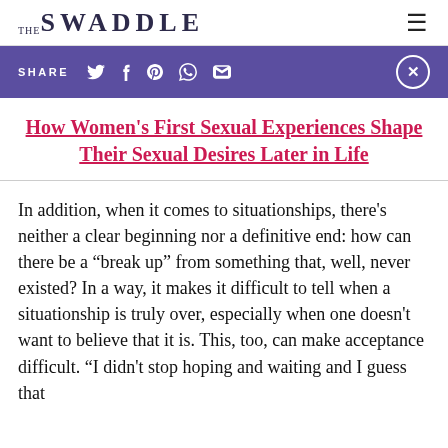THE SWADDLE
SHARE
How Women’s First Sexual Experiences Shape Their Sexual Desires Later in Life
In addition, when it comes to situationships, there’s neither a clear beginning nor a definitive end: how can there be a “break up” from something that, well, never existed? In a way, it makes it difficult to tell when a situationship is truly over, especially when one doesn’t want to believe that it is. This, too, can make acceptance difficult. “I didn’t stop hoping and waiting and I guess that